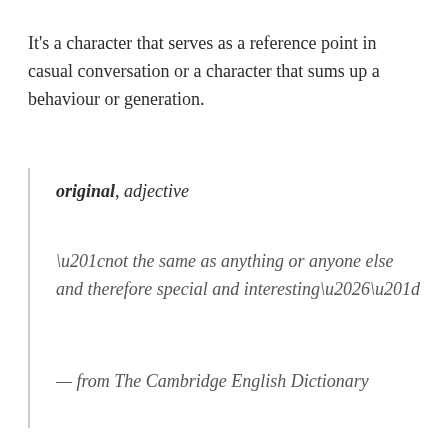It’s a character that serves as a reference point in casual conversation or a character that sums up a behaviour or generation.
original, adjective
“not the same as anything or anyone else and therefore special and interesting…”
— from The Cambridge English Dictionary